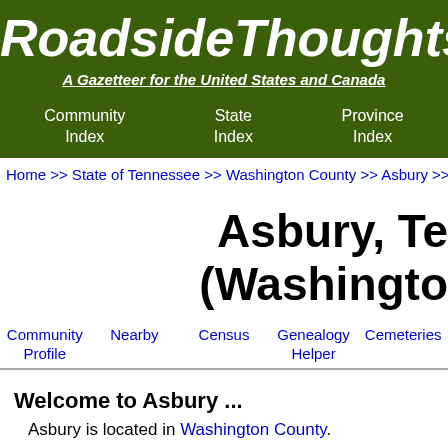RoadsideThoughts
A Gazetteer for the United States and Canada
Community Index | State Index | Province Index
Home >> State of Tennessee >> Washington County >> Asbury >>
Asbury, Ten (Washington
Community Profile | Nearby | Census | Genealogy Helper | Cemeteries
Welcome to Asbury ...
Asbury is located in Washington County.